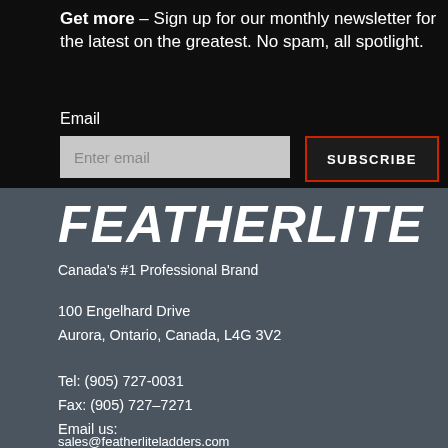Get more – Sign up for our monthly newsletter for the latest on the greatest. No spam, all spotlight.
Email
Enter email
SUBSCRIBE
[Figure (logo): Featherlite logo in bold white italic text]
Canada's #1 Professional Brand
100 Engelhard Drive
Aurora, Ontario, Canada, L4G 3V2
Tel: (905) 727-0031
Fax: (905) 727–7271
Email us:
sales@featherliteladders.com